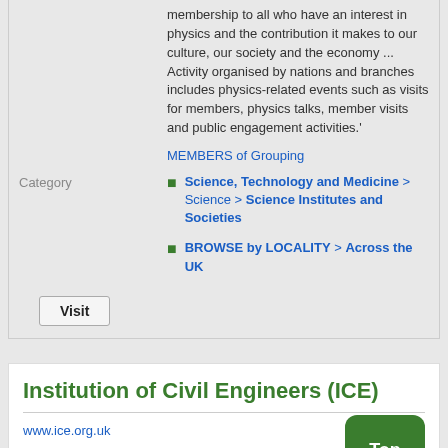membership to all who have an interest in physics and the contribution it makes to our culture, our society and the economy ... Activity organised by nations and branches includes physics-related events such as visits for members, physics talks, member visits and public engagement activities.'
MEMBERS of Grouping
Category
Science, Technology and Medicine > Science > Science Institutes and Societies
BROWSE by LOCALITY > Across the UK
Visit
Institution of Civil Engineers (ICE)
www.ice.org.uk
Category
Engineering Institutes and Societies
Top